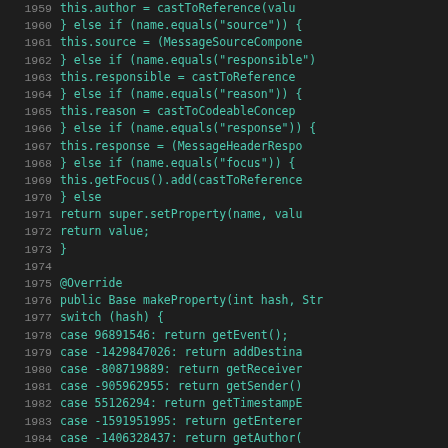Source code listing lines 1959-1987, showing Java setProperty and makeProperty methods with switch/case blocks
[Figure (screenshot): Java source code with line numbers 1959-1987, dark background, green monospace text showing setProperty and makeProperty methods]